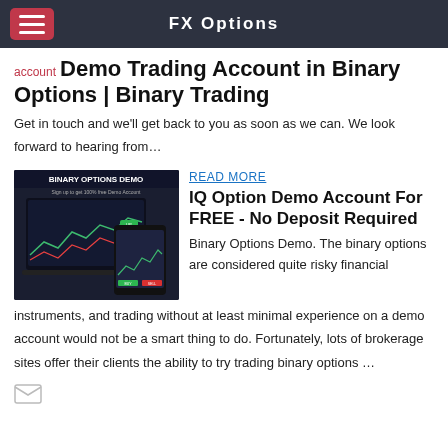FX Options
account
Demo Trading Account in Binary Options | Binary Trading
Get in touch and we'll get back to you as soon as we can. We look forward to hearing from…
[Figure (screenshot): Binary Options Demo screenshot showing trading platform with 'Sign up to get 100% free Demo Account' text and trading chart on laptop and mobile screens]
READ MORE
IQ Option Demo Account For FREE - No Deposit Required
Binary Options Demo. The binary options are considered quite risky financial instruments, and trading without at least minimal experience on a demo account would not be a smart thing to do. Fortunately, lots of brokerage sites offer their clients the ability to try trading binary options …